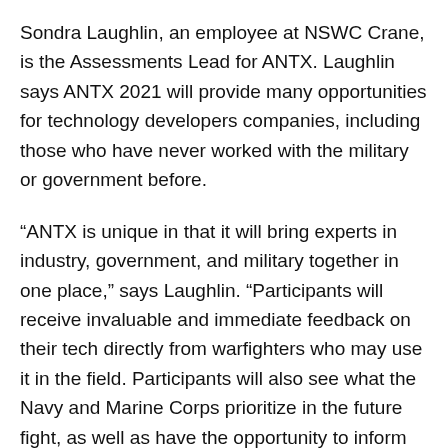Sondra Laughlin, an employee at NSWC Crane, is the Assessments Lead for ANTX. Laughlin says ANTX 2021 will provide many opportunities for technology developers companies, including those who have never worked with the military or government before.
“ANTX is unique in that it will bring experts in industry, government, and military together in one place,” says Laughlin. “Participants will receive invaluable and immediate feedback on their tech directly from warfighters who may use it in the field. Participants will also see what the Navy and Marine Corps prioritize in the future fight, as well as have the opportunity to inform the discussion as future concepts are developed.”
Dana Rushing, a Knowledge Manager for NICE ANTX 2021 and NIWC Atlantic employee, says the partnership brings